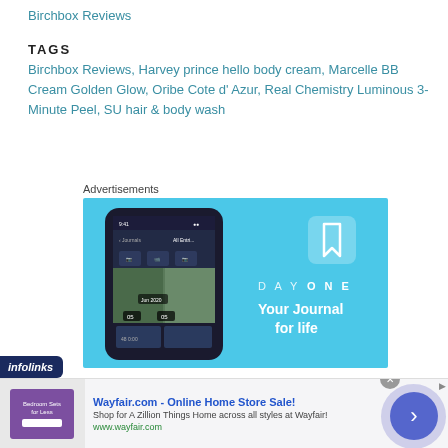Birchbox Reviews
TAGS
Birchbox Reviews, Harvey prince hello body cream, Marcelle BB Cream Golden Glow, Oribe Cote d' Azur, Real Chemistry Luminous 3-Minute Peel, SU hair & body wash
Advertisements
[Figure (screenshot): DayOne app advertisement with a cyan/light blue background showing a smartphone mockup with the DayOne journal app interface on the left, and on the right the DayOne bookmark icon logo and text 'DAYONE' with tagline 'Your Journal for life']
[Figure (screenshot): Wayfair.com advertisement banner at the bottom showing a purple bedroom image on the left, with text 'Wayfair.com - Online Home Store Sale!' and description 'Shop for A Zillion Things Home across all styles at Wayfair!' and URL www.wayfair.com, with a blue circular arrow button on the right. Also shows infolinks badge and close button.]